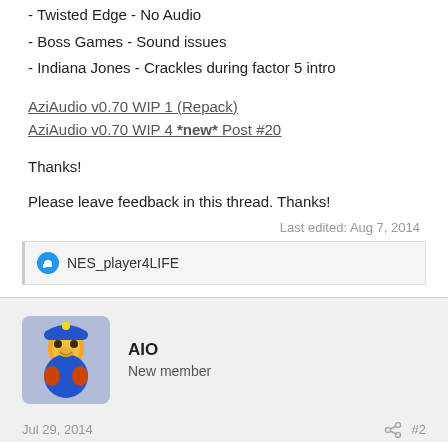- Twisted Edge - No Audio
- Boss Games - Sound issues
- Indiana Jones - Crackles during factor 5 intro
AziAudio v0.70 WIP 1 (Repack)
AziAudio v0.70 WIP 4 *new* Post #20
Thanks!
Please leave feedback in this thread. Thanks!
Last edited: Aug 7, 2014
NES_player4LIFE
AIO
New member
Jul 29, 2014
#2